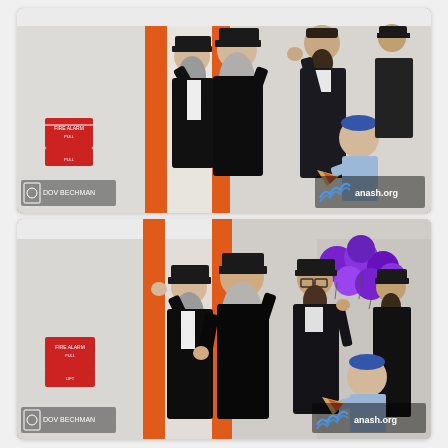[Figure (photo): Indoor photo of several Jewish men in black hats and coats standing near an orange door, appearing to affix a mezuzah. A young boy in a blue kippah holds food. A red fire alarm sign is visible on the left wall. The photo has a photographer watermark on the bottom left and an anash.org logo on the bottom right.]
[Figure (photo): Second indoor photo from a similar angle showing the same group of Jewish men near the orange door. Purple balloons are visible in the upper right background. A young boy in a blue kippah is visible in the lower right. Red fire alarm sign visible on the left. Photographer watermark bottom left, anash.org logo bottom right.]